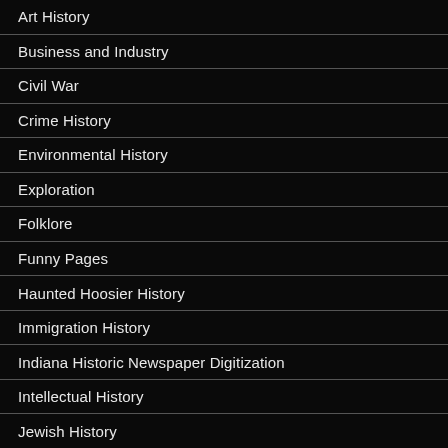Art History
Business and Industry
Civil War
Crime History
Environmental History
Exploration
Folklore
Funny Pages
Haunted Hoosier History
Immigration History
Indiana Historic Newspaper Digitization
Intellectual History
Jewish History